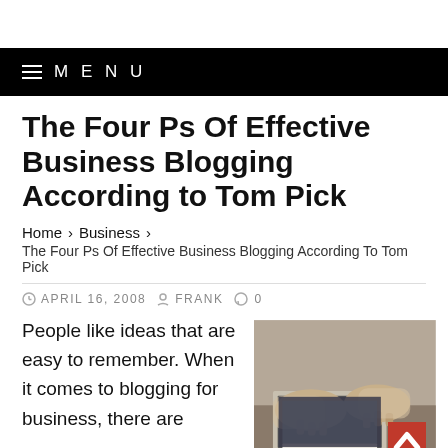≡ MENU
The Four Ps Of Effective Business Blogging According to Tom Pick
Home › Business › The Four Ps Of Effective Business Blogging According To Tom Pick
APRIL 16, 2008  FRANK  0
People like ideas that are easy to remember. When it comes to blogging for business, there are
[Figure (photo): Person typing on a laptop, wearing beige/tan clothing, close-up view of hands on keyboard]